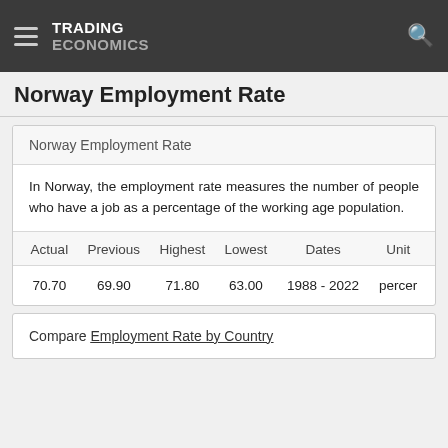TRADING ECONOMICS
Norway Employment Rate
Norway Employment Rate
In Norway, the employment rate measures the number of people who have a job as a percentage of the working age population.
| Actual | Previous | Highest | Lowest | Dates | Unit |
| --- | --- | --- | --- | --- | --- |
| 70.70 | 69.90 | 71.80 | 63.00 | 1988 - 2022 | percent |
Compare Employment Rate by Country